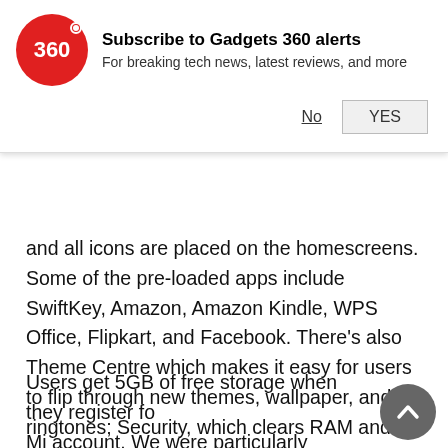[Figure (logo): Gadgets 360 red circle logo with '360' text and dot]
Subscribe to Gadgets 360 alerts
For breaking tech news, latest reviews, and more
and all icons are placed on the homescreens. Some of the pre-loaded apps include SwiftKey, Amazon, Amazon Kindle, WPS Office, Flipkart, and Facebook. There's also Theme Centre which makes it easy for users to flip through new themes, wallpaper, and ringtones; Security, which clears RAM and lets you manage installed apps; Mi Remote which takes advantage of the IR emitter to control appliances; and Mi Store, from which you can buy more Xiaomi products.
Users get 5GB of free storage when they register for a Mi account. We were particularly surprised to see some of the software enhancements from the premium Mi